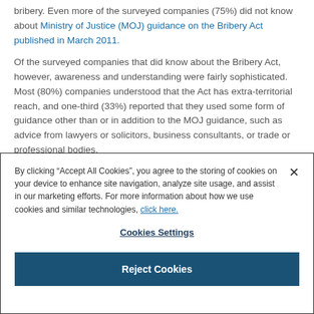bribery. Even more of the surveyed companies (75%) did not know about Ministry of Justice (MOJ) guidance on the Bribery Act published in March 2011.
Of the surveyed companies that did know about the Bribery Act, however, awareness and understanding were fairly sophisticated. Most (80%) companies understood that the Act has extra-territorial reach, and one-third (33%) reported that they used some form of guidance other than or in addition to the MOJ guidance, such as advice from lawyers or solicitors, business consultants, or trade or professional bodies.
By clicking “Accept All Cookies”, you agree to the storing of cookies on your device to enhance site navigation, analyze site usage, and assist in our marketing efforts. For more information about how we use cookies and similar technologies, click here.
Cookies Settings
Reject Cookies